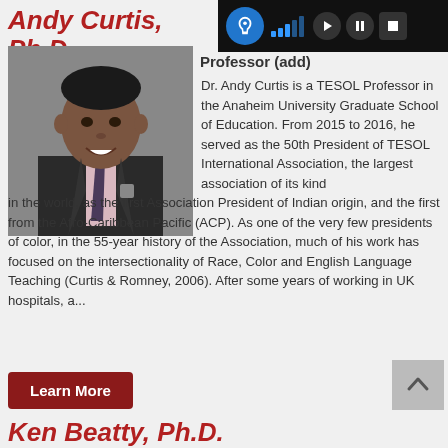Andy Curtis, Ph.D.
Toolbar with accessibility/audio controls
[Figure (photo): Headshot photo of Dr. Andy Curtis, a man in a dark suit with a striped tie, smiling]
Professor (add)
Dr. Andy Curtis is a TESOL Professor in the Anaheim University Graduate School of Education. From 2015 to 2016, he served as the 50th President of TESOL International Association, the largest association of its kind in the world, as the first Association President of Indian origin, and the first from the Afro-Caribbean Pacific (ACP). As one of the very few presidents of color, in the 55-year history of the Association, much of his work has focused on the intersectionality of Race, Color and English Language Teaching (Curtis & Romney, 2006). After some years of working in UK hospitals, a...
Learn More
Ken Beatty, Ph.D.